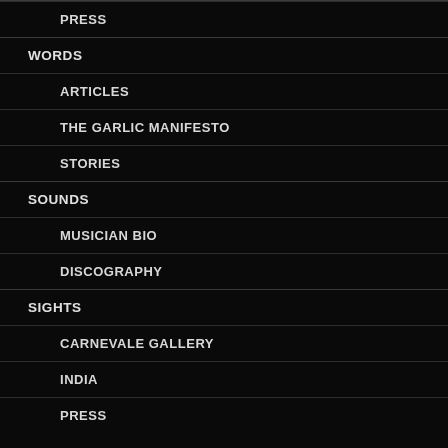PRESS
WORDS
ARTICLES
THE GARLIC MANIFESTO
STORIES
SOUNDS
MUSICIAN BIO
DISCOGRAPHY
SIGHTS
CARNEVALE GALLERY
INDIA
PRESS